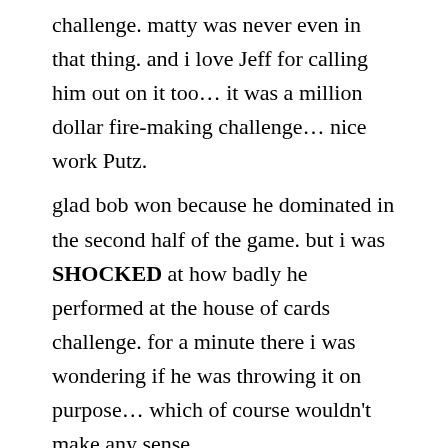challenge. matty was never even in that thing. and i love Jeff for calling him out on it too… it was a million dollar fire-making challenge… nice work Putz.
glad bob won because he dominated in the second half of the game. but i was SHOCKED at how badly he performed at the house of cards challenge. for a minute there i was wondering if he was throwing it on purpose… which of course wouldn't make any sense.
another great season.
PDS